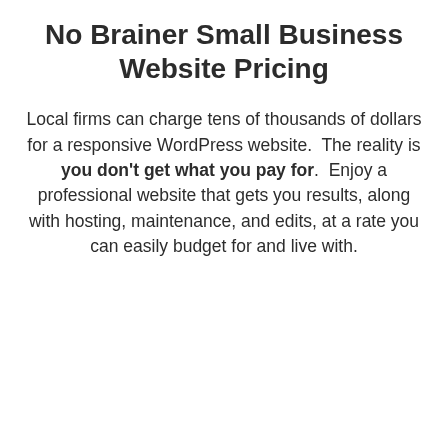No Brainer Small Business Website Pricing
Local firms can charge tens of thousands of dollars for a responsive WordPress website.  The reality is you don't get what you pay for.  Enjoy a professional website that gets you results, along with hosting, maintenance, and edits, at a rate you can easily budget for and live with.